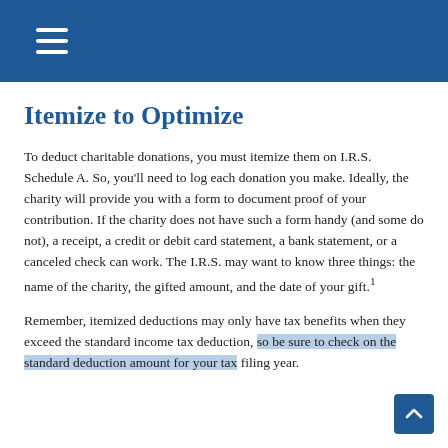Itemize to Optimize
To deduct charitable donations, you must itemize them on I.R.S. Schedule A. So, you'll need to log each donation you make. Ideally, the charity will provide you with a form to document proof of your contribution. If the charity does not have such a form handy (and some do not), a receipt, a credit or debit card statement, a bank statement, or a canceled check can work. The I.R.S. may want to know three things: the name of the charity, the gifted amount, and the date of your gift.¹
Remember, itemized deductions may only have tax benefits when they exceed the standard income tax deduction, so be sure to check on the standard deduction amount for your tax filing year.